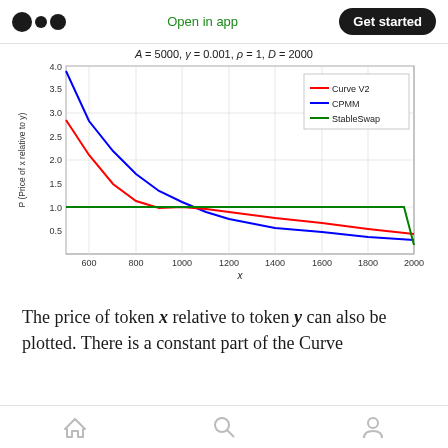Open in app | Get started
[Figure (line-chart): A = 5000, γ = 0.001, ρ = 1, D = 2000]
The price of token x relative to token y can also be plotted. There is a constant part of the Curve